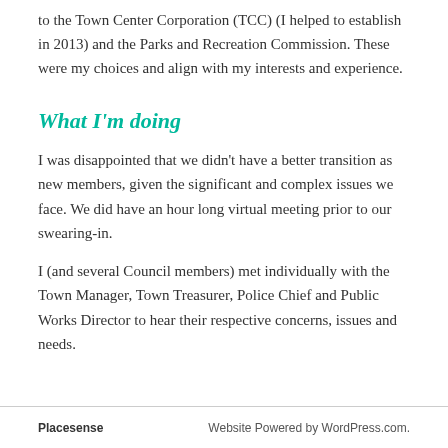to the Town Center Corporation (TCC) (I helped to establish in 2013) and the Parks and Recreation Commission. These were my choices and align with my interests and experience.
What I'm doing
I was disappointed that we didn't have a better transition as new members, given the significant and complex issues we face. We did have an hour long virtual meeting prior to our swearing-in.
I (and several Council members) met individually with the Town Manager, Town Treasurer, Police Chief and Public Works Director to hear their respective concerns, issues and needs.
Placesense | Website Powered by WordPress.com.